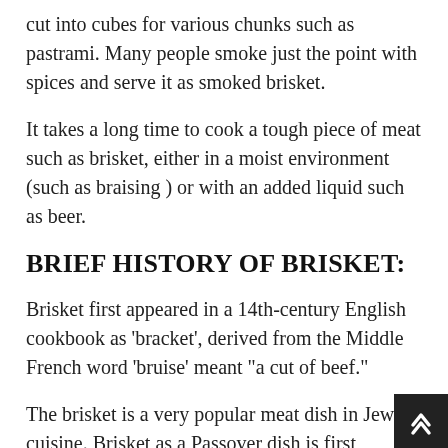cut into cubes for various chunks such as pastrami. Many people smoke just the point with spices and serve it as smoked brisket.
It takes a long time to cook a tough piece of meat such as brisket, either in a moist environment (such as braising ) or with an added liquid such as beer.
BRIEF HISTORY OF BRISKET:
Brisket first appeared in a 14th-century English cookbook as 'bracket', derived from the Middle French word 'bruise' meant "a cut of beef."
The brisket is a very popular meat dish in Jewish cuisine. Brisket as a Passover dish is first mentioned by American Jews in the early 19th century. In America, it came to be associated with large extended families. It was also later popularly used as an army dish since it could be cooked slowly with